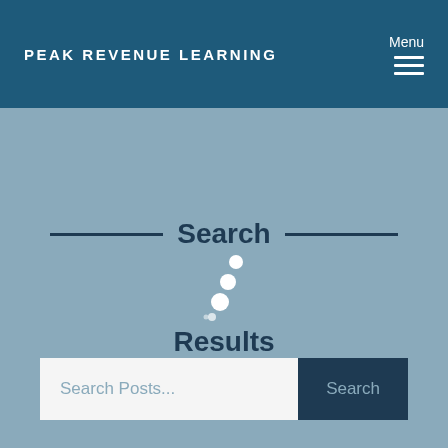PEAK REVENUE LEARNING
Menu
Search Results
[Figure (other): Animated loading dots (spinner) indicating search in progress]
Search Posts... Search